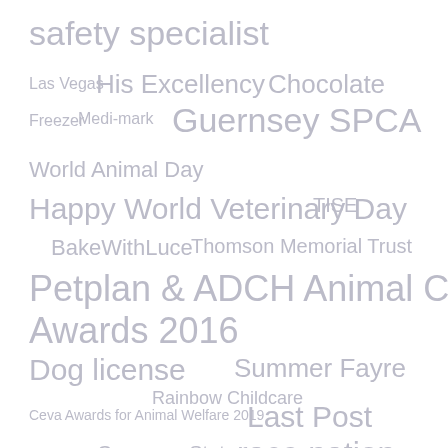[Figure (infographic): Tag cloud with various GSPCA and animal welfare related terms displayed in different font sizes and shades of gray/purple, arranged across the page.]